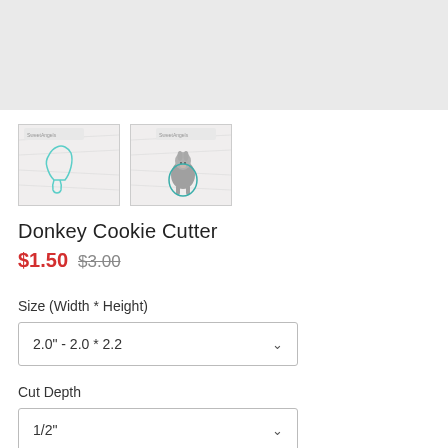[Figure (photo): Hero image area - light gray placeholder rectangle at top of page]
[Figure (photo): Thumbnail 1: Cookie cutter outline of a donkey shape on crinkled paper background, with decorative header and teal outline shape]
[Figure (photo): Thumbnail 2: Cookie cutter with colored donkey illustration on crinkled paper background, with decorative header]
Donkey Cookie Cutter
$1.50  $3.00
Size (Width * Height)
2.0" - 2.0 * 2.2
Cut Depth
1/2"